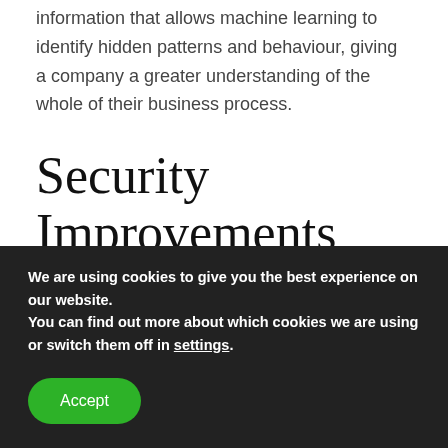information that allows machine learning to identify hidden patterns and behaviour, giving a company a greater understanding of the whole of their business process.
Security Improvements
The world relies on web services. This connected lifestyle is beneficial, but there are security risks, including data breaches, phishing attacks, ransomware.
We are using cookies to give you the best experience on our website.
You can find out more about which cookies we are using or switch them off in settings.
Accept